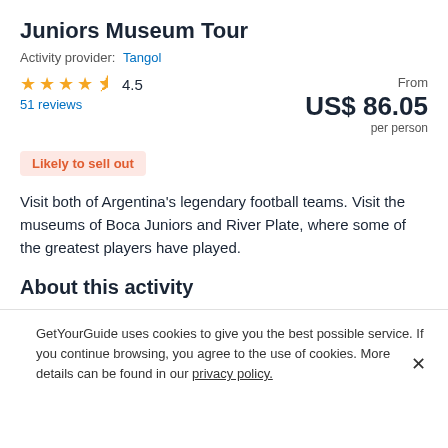Juniors Museum Tour
Activity provider: Tangol
★★★★½ 4.5
51 reviews
From USS 86.05 per person
Likely to sell out
Visit both of Argentina's legendary football teams. Visit the museums of Boca Juniors and River Plate, where some of the greatest players have played.
About this activity
GetYourGuide uses cookies to give you the best possible service. If you continue browsing, you agree to the use of cookies. More details can be found in our privacy policy.